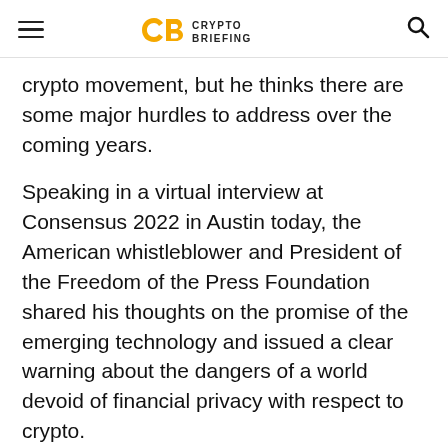Crypto Briefing
crypto movement, but he thinks there are some major hurdles to address over the coming years.
Speaking in a virtual interview at Consensus 2022 in Austin today, the American whistleblower and President of the Freedom of the Press Foundation shared his thoughts on the promise of the emerging technology and issued a clear warning about the dangers of a world devoid of financial privacy with respect to crypto.
Snowden, who made international headlines when he leaked classified National Security Agency documents, told attendees that he...